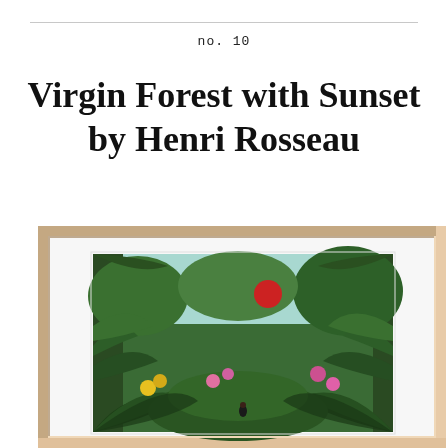no. 10
Virgin Forest with Sunset by Henri Rosseau
[Figure (illustration): Framed art print of Henri Rosseau's Virgin Forest with Sunset painting, showing a dense tropical jungle with large green fronds, colorful flowers (yellow, pink), a bright red sun visible between trees, a light blue sky, and a small figure in the lower center. The painting is displayed in a light natural wood frame with white mat.]